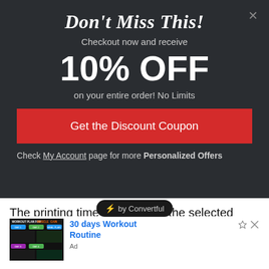Don't Miss This!
Checkout now and receive
10% OFF
on your entire order! No Limits
Get the Discount Coupon
Check My Account page for more Personalized Offers
The printing time depends on the selected quality, layer height, etc. of the 3D print you want.
[Figure (screenshot): Advertisement image showing a workout plan for muscle gain with exercise charts]
30 days Workout Routine
Ad